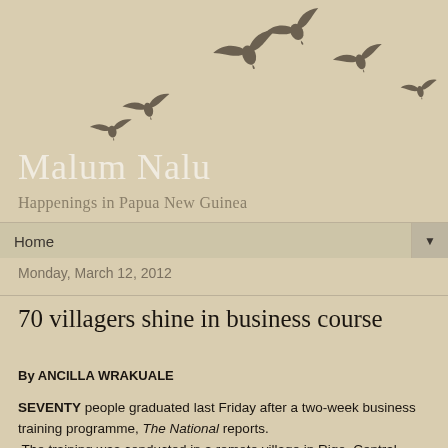[Figure (illustration): Silhouettes of birds in flight arranged in a curved arc pattern across the top of the page, on a tan/beige background]
Malum Nalu
Happenings in Papua New Guinea
Home ▼
Monday, March 12, 2012
70 villagers shine in business course
By ANCILLA WRAKUALE
SEVENTY people graduated last Friday after a two-week business training programme, The National reports.
 The training was conducted in a remote village in Rigo, Central province by the Small Business Development Corporation on Start Improve Your